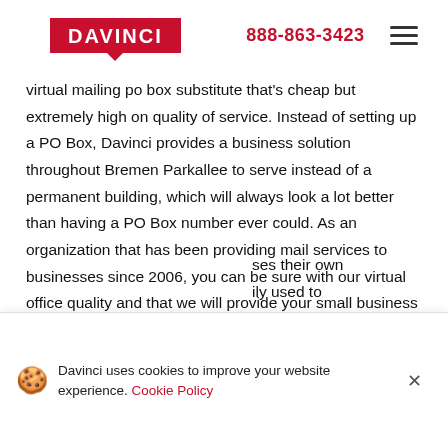DAVINCI | 888-863-3423
virtual mailing po box substitute that's cheap but extremely high on quality of service. Instead of setting up a PO Box, Davinci provides a business solution throughout Bremen Parkallee to serve instead of a permanent building, which will always look a lot better than having a PO Box number ever could. As an organization that has been providing mail services to businesses since 2006, you can be sure with our virtual office quality and that we will provide your small business by the highest satisfaction business mail forwarding service via our virtual mailing address service. One of the most popular features for our Bremen Parkallee ... ses their own ... ily used to ... ddress, there is no
Davinci uses cookies to improve your website experience. Cookie Policy